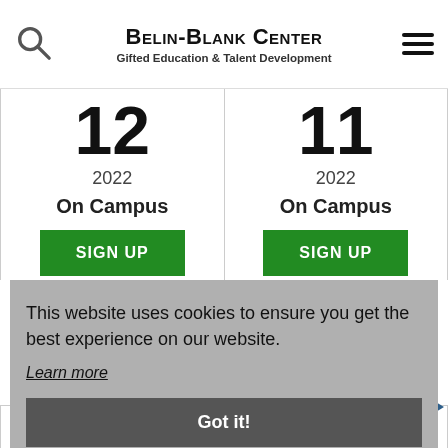Belin-Blank Center Gifted Education & Talent Development
12
2022
On Campus
11
2022
On Campus
SIGN UP
SIGN UP
This website uses cookies to ensure you get the best experience on our website.
Learn more
Got it!
Online
Online